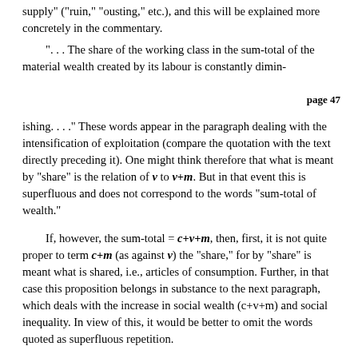supply" ("ruin," "ousting," etc.), and this will be explained more concretely in the commentary.
". . . The share of the working class in the sum-total of the material wealth created by its labour is constantly dimin-
page 47
ishing. . . ." These words appear in the paragraph dealing with the intensification of exploitation (compare the quotation with the text directly preceding it). One might think therefore that what is meant by "share" is the relation of v to v+m. But in that event this is superfluous and does not correspond to the words "sum-total of wealth."
If, however, the sum-total = c+v+m, then, first, it is not quite proper to term c+m (as against v) the "share," for by "share" is meant what is shared, i.e., articles of consumption. Further, in that case this proposition belongs in substance to the next paragraph, which deals with the increase in social wealth (c+v+m) and social inequality. In view of this, it would be better to omit the words quoted as superfluous repetition.
Moreover, these words, as formulated, presuppose a